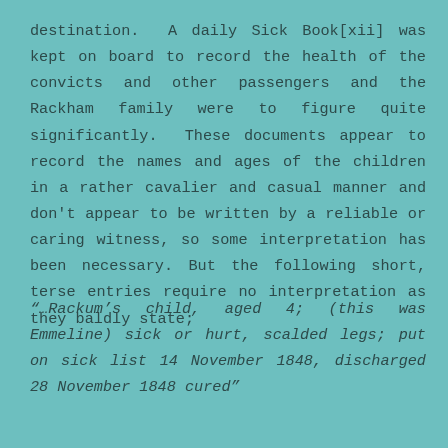destination. A daily Sick Book[xii] was kept on board to record the health of the convicts and other passengers and the Rackham family were to figure quite significantly. These documents appear to record the names and ages of the children in a rather cavalier and casual manner and don't appear to be written by a reliable or caring witness, so some interpretation has been necessary. But the following short, terse entries require no interpretation as they baldly state;
“…Rackum’s child, aged 4; (this was Emmeline) sick or hurt, scalded legs; put on sick list 14 November 1848, discharged 28 November 1848 cured”